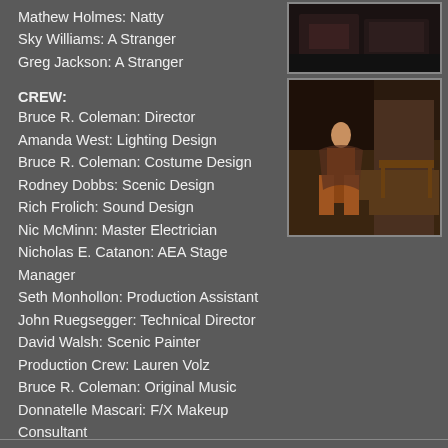Mathew Holmes: Natty
Sky Williams: A Stranger
Greg Jackson: A Stranger
[Figure (photo): Two theater production photos stacked vertically on the right side of the page. Top photo shows a dark stage scene. Bottom photo shows an actor in period costume on stage.]
CREW:
Bruce R. Coleman: Director
Amanda West: Lighting Design
Bruce R. Coleman: Costume Design
Rodney Dobbs: Scenic Design
Rich Frolich: Sound Design
Nic McMinn: Master Electrician
Nicholas E. Catanon: AEA Stage Manager
Seth Monhollon: Production Assistant
John Ruegsegger: Technical Director
David Walsh: Scenic Painter
Production Crew: Lauren Volz
Bruce R. Coleman: Original Music
Donnatelle Mascari: F/X Makeup Consultant